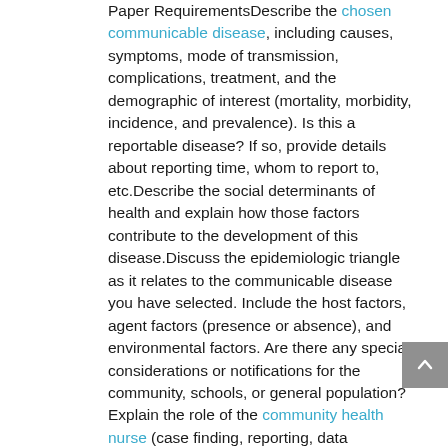Paper RequirementsDescribe the chosen communicable disease, including causes, symptoms, mode of transmission, complications, treatment, and the demographic of interest (mortality, morbidity, incidence, and prevalence). Is this a reportable disease? If so, provide details about reporting time, whom to report to, etc.Describe the social determinants of health and explain how those factors contribute to the development of this disease.Discuss the epidemiologic triangle as it relates to the communicable disease you have selected. Include the host factors, agent factors (presence or absence), and environmental factors. Are there any special considerations or notifications for the community, schools, or general population?Explain the role of the community health nurse (case finding, reporting, data collection, data analysis, and follow-up) and why demographic data are necessary to the health of the community.Identify at least one national agency or organization that addresses the communicable disease chosen and describe how the organizations contribute to resolving or reducing the impact of disease.Discuss a global implication of the